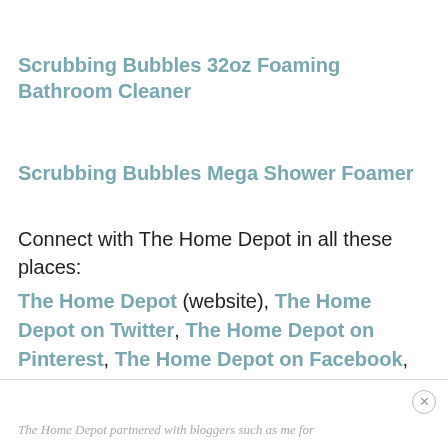Scrubbing Bubbles 32oz Foaming Bathroom Cleaner
Scrubbing Bubbles Mega Shower Foamer
Connect with The Home Depot in all these places:
The Home Depot (website), The Home Depot on Twitter, The Home Depot on Pinterest, The Home Depot on Facebook, and The Home Depot Blog
The Home Depot partnered with bloggers such as me for